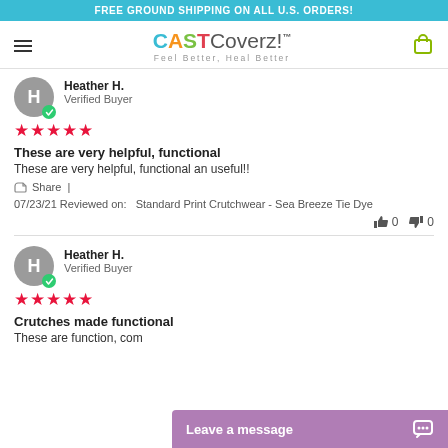FREE GROUND SHIPPING ON ALL U.S. ORDERS!
[Figure (logo): CASTCoverz! logo with tagline 'Feel Better, Heal Better']
Heather H. — Verified Buyer — 5 stars
These are very helpful, functional
These are very helpful, functional an useful!!
Share |
07/23/21 Reviewed on: Standard Print Crutchwear - Sea Breeze Tie Dye
👍 0  👎 0
Heather H. — Verified Buyer — 5 stars
Crutches made functional
These are function, com...
Leave a message